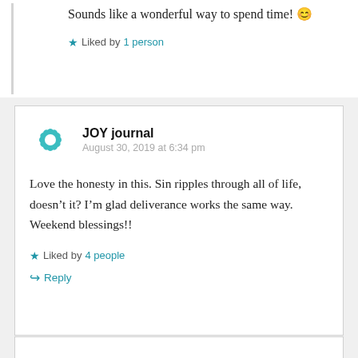Sounds like a wonderful way to spend time! 😊
Liked by 1 person
JOY journal
August 30, 2019 at 6:34 pm
Love the honesty in this. Sin ripples through all of life, doesn't it? I'm glad deliverance works the same way. Weekend blessings!!
Liked by 4 people
Reply